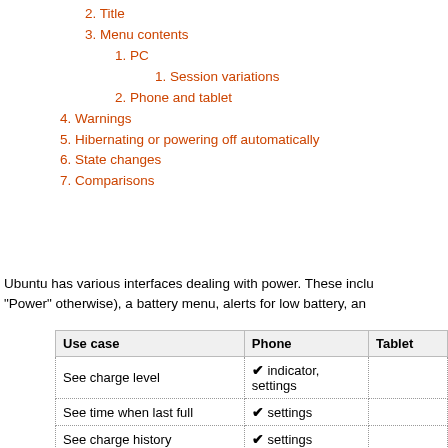2. Title
3. Menu contents
1. PC
1. Session variations
2. Phone and tablet
4. Warnings
5. Hibernating or powering off automatically
6. State changes
7. Comparisons
Ubuntu has various interfaces dealing with power. These inclu… “Power” otherwise), a battery menu, alerts for low battery, an…
| Use case | Phone | Tablet |
| --- | --- | --- |
| See charge level | ✔ indicator, settings |  |
| See time when last full | ✔ settings |  |
| See charge history | ✔ settings |  |
| See time remaining | ❌ (too variable) |  |
| Configure screen blanking | ❌ (combined with lockin… |  |
| Configure auto-suspend | ❌ (combined with lockin… |  |
| Configure lid/cover behavior | ❌ (no lid) | ❌ (no lid/c… |